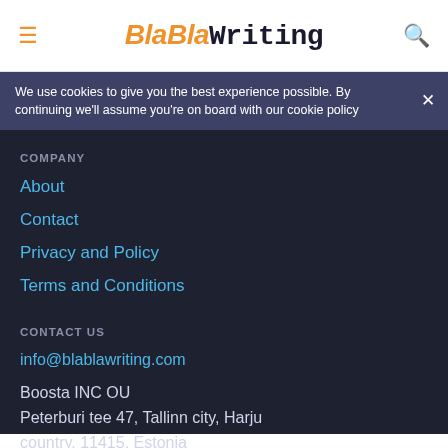BlaBlaWriting
We use cookies to give you the best experience possible. By continuing we'll assume you're on board with our cookie policy
COMPANY
About
Contact
Privacy and Policy
Terms and Conditions
CONTACT US
info@blablawriting.com
Boosta INC OU
Peterburi tee 47, Tallinn city, Harju country, 11415, Estonia